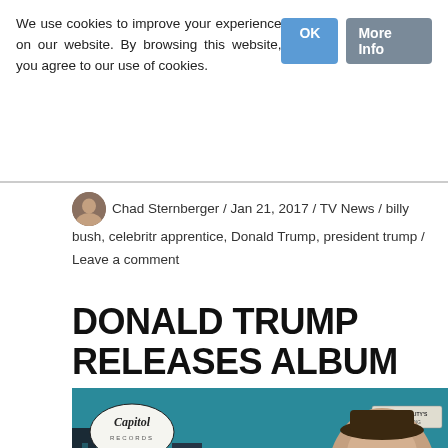We use cookies to improve your experience on our website. By browsing this website, you agree to our use of cookies.
Chad Sternberger / Jan 21, 2017 / TV News / billy bush, celebritr apprentice, Donald Trump, president trump / Leave a comment
DONALD TRUMP RELEASES ALBUM
[Figure (photo): Album cover parody showing Donald Trump styled as a Capitol Records album artist, with text 'DONALD TRUMP' and partial text 'wee small hours', Capitol Records logo top left, High Fidelity Recording logo top right.]